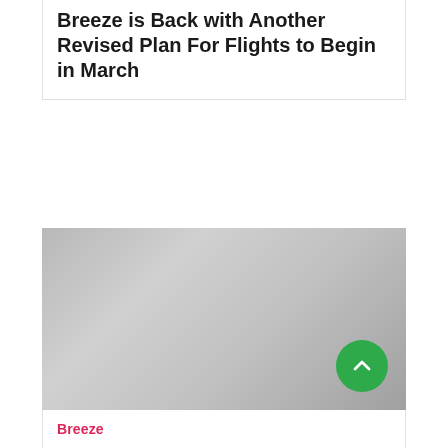Breeze is Back with Another Revised Plan For Flights to Begin in March
[Figure (photo): A grey/silver gradient image placeholder, likely an airline or aircraft photo. A green circular scroll-to-top button with a chevron/arrow icon is overlaid in the bottom-right corner.]
Breeze